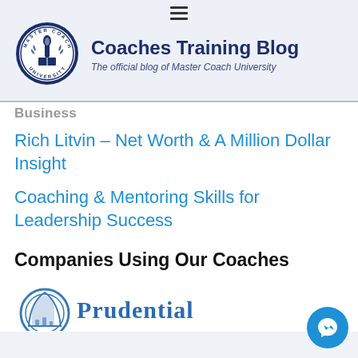[Figure (logo): Master Coach University circular seal logo with torch and books]
Coaches Training Blog
The official blog of Master Coach University
Business
Rich Litvin – Net Worth & A Million Dollar Insight
Coaching & Mentoring Skills for Leadership Success
Companies Using Our Coaches
[Figure (logo): Prudential company logo — partial view showing circular emblem and Prudential text in blue]
[Figure (other): Facebook Messenger chat button in blue circle, bottom right corner]